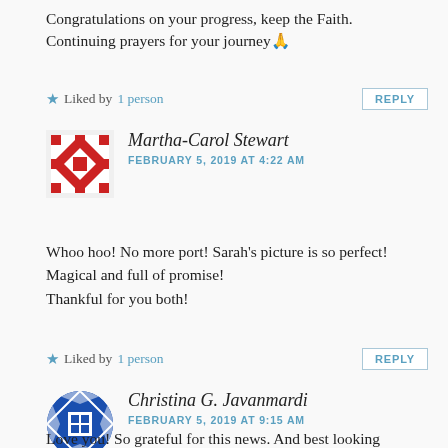Congratulations on your progress, keep the Faith. Continuing prayers for your journey🙏
★ Liked by 1 person  REPLY
Martha-Carol Stewart
FEBRUARY 5, 2019 AT 4:22 AM
Whoo hoo! No more port! Sarah's picture is so perfect! Magical and full of promise!
Thankful for you both!
★ Liked by 1 person  REPLY
Christina G. Javanmardi
FEBRUARY 5, 2019 AT 9:15 AM
Love you! So grateful for this news. And best looking